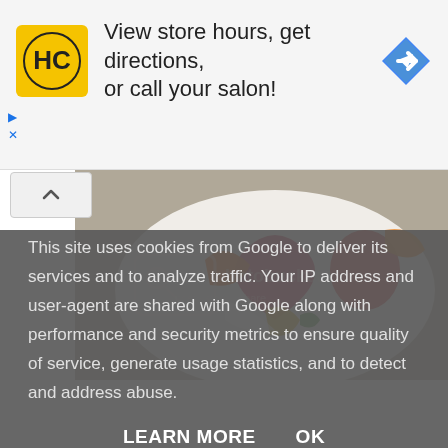[Figure (screenshot): Advertisement banner with HC (Hair Club) logo in yellow square, text 'View store hours, get directions, or call your salon!' and a blue navigation arrow icon]
View store hours, get directions, or call your salon!
[Figure (photo): Person wearing a colorful floral patterned garment with pink, red, orange and yellow designs. Photobucket watermark visible.]
This site uses cookies from Google to deliver its services and to analyze traffic. Your IP address and user-agent are shared with Google along with performance and security metrics to ensure quality of service, generate usage statistics, and to detect and address abuse.
LEARN MORE    OK